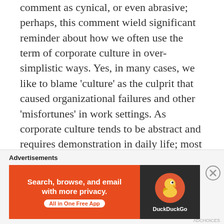comment as cynical, or even abrasive; perhaps, this comment wield significant reminder about how we often use the term of corporate culture in over-simplistic ways. Yes, in many cases, we like to blame 'culture' as the culprit that caused organizational failures and other 'misfortunes' in work settings. As corporate culture tends to be abstract and requires demonstration in daily life; most people may have difficulties to see it as a tangible and discrete part of organization life. Just like recycle bin in our computer desktop; we threw everything we thought as useless; and when we got stuck with something and can't find a solution, we suddenly realized that we need to restore them and hoped that we might
Advertisements
[Figure (other): DuckDuckGo advertisement banner: orange background on left with text 'Search, browse, and email with more privacy.' and 'All in One Free App' button; dark right panel with DuckDuckGo duck logo]